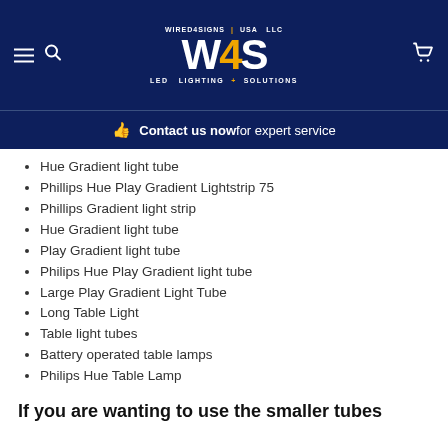[Figure (logo): Wired4Signs USA LLC W4S LED Lighting Solutions logo on dark navy background with hamburger menu, search icon, and cart icon]
Contact us now for expert service
Hue Gradient light tube
Phillips Hue Play Gradient Lightstrip 75
Phillips Gradient light strip
Hue Gradient light tube
Play Gradient light tube
Philips Hue Play Gradient light tube
Large Play Gradient Light Tube
Long Table Light
Table light tubes
Battery operated table lamps
Philips Hue Table Lamp
If you are wanting to use the smaller tubes